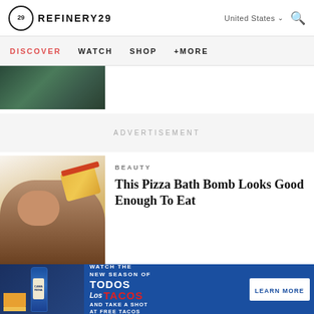REFINERY29 — United States
DISCOVER  WATCH  SHOP  +MORE
[Figure (photo): Partial view of an article hero image, dark green-toned photo]
ADVERTISEMENT
[Figure (photo): Woman eating/holding a pizza slice, used for beauty article thumbnail]
BEAUTY
This Pizza Bath Bomb Looks Good Enough To Eat
[Figure (infographic): Camarena Tequila advertisement banner: WATCH THE NEW SEASON OF TODOS Los TACOS AND TAKE A SHOT AT FREE TACOS with LEARN MORE button]